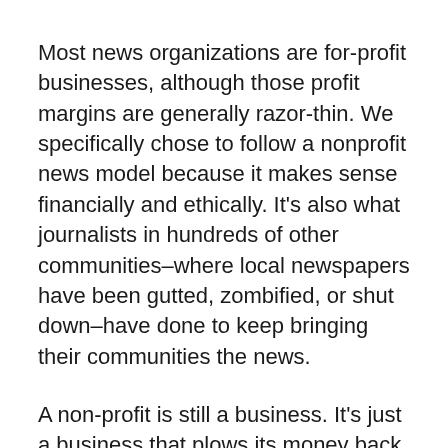Most news organizations are for-profit businesses, although those profit margins are generally razor-thin. We specifically chose to follow a nonprofit news model because it makes sense financially and ethically. It's also what journalists in hundreds of other communities–where local newspapers have been gutted, zombified, or shut down–have done to keep bringing their communities the news.
A non-profit is still a business. It's just a business that plows its money back into operations for the public good instead of handing out cash to shareholders.